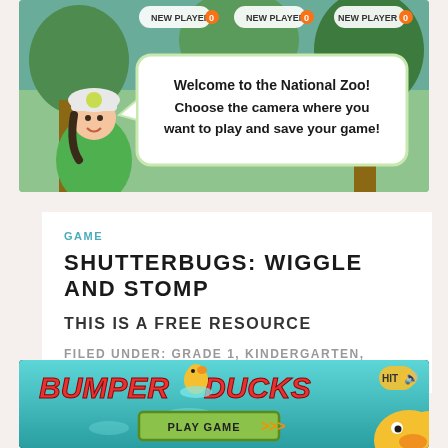[Figure (screenshot): Screenshot of Shutterbugs game at National Zoo showing a cartoon girl with a cap and a speech bubble reading 'Welcome to the National Zoo! Choose the camera where you want to play and save your game!' with NEW PLAYER badges at the top.]
GAME
Shutterbugs: Wiggle and Stomp
This is a free resource
Filed Under: Grade 1, Kindergarten, Physical Science
[Figure (screenshot): Screenshot of Bumper Ducks game showing the title 'BUMPER DUCKS' in red stylized text on a teal background with a yellow duck graphic, a 'Play Game' green button with orange arrows, and a partial yellow duck face in the bottom right corner.]